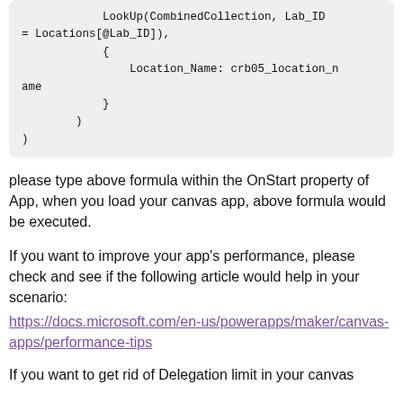please type above formula within the OnStart property of App, when you load your canvas app, above formula would be executed.
If you want to improve your app's performance, please check and see if the following article would help in your scenario:
https://docs.microsoft.com/en-us/powerapps/maker/canvas-apps/performance-tips
If you want to get rid of Delegation limit in your canvas